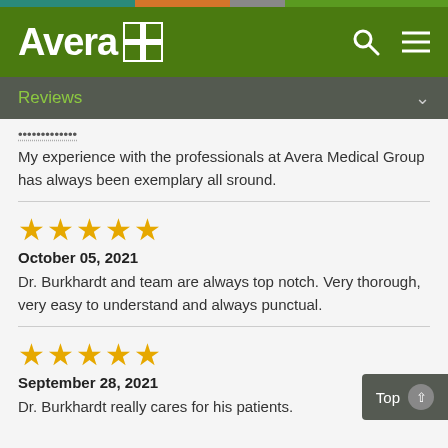[Figure (other): Avera Health logo with navigation bar including search and menu icons on dark green background]
Reviews
My experience with the professionals at Avera Medical Group has always been exemplary all sround.
★★★★★
October 05, 2021
Dr. Burkhardt and team are always top notch. Very thorough, very easy to understand and always punctual.
★★★★★
September 28, 2021
Dr. Burkhardt really cares for his patients.